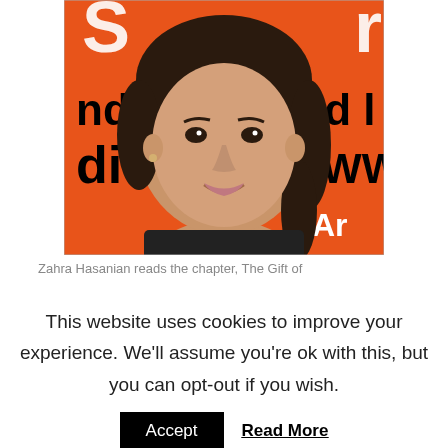[Figure (photo): Portrait photo of a young woman (Zahra Hasanian) smiling, standing in front of an orange banner with partially visible text including letters 'nd t', 'di', 'di', 'WW', 'Ar'. She has dark hair pulled back and is wearing a dark top.]
Zahra Hasanian reads the chapter, The Gift of
This website uses cookies to improve your experience. We'll assume you're ok with this, but you can opt-out if you wish.
Accept   Read More